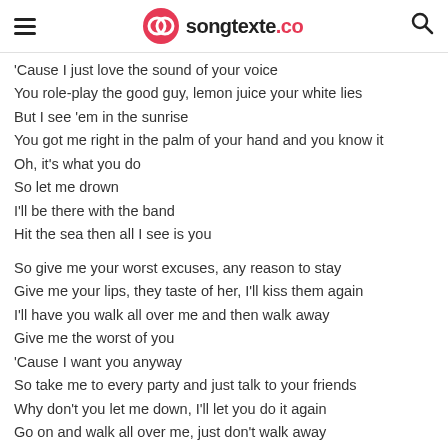songtexte.co
'Cause I just love the sound of your voice
You role-play the good guy, lemon juice your white lies
But I see 'em in the sunrise
You got me right in the palm of your hand and you know it
Oh, it's what you do
So let me drown
I'll be there with the band
Hit the sea then all I see is you
So give me your worst excuses, any reason to stay
Give me your lips, they taste of her, I'll kiss them again
I'll have you walk all over me and then walk away
Give me the worst of you
'Cause I want you anyway
So take me to every party and just talk to your friends
Why don't you let me down, I'll let you do it again
Go on and walk all over me, just don't walk away
Give me the worst of you